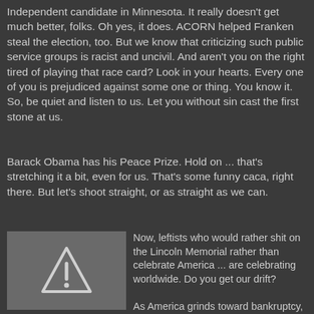Independent candidate in Minnesota. It really doesn't get much better, folks. Oh yes, it does. ACORN helped Franken steal the election, too. But we know that criticizing such public service groups is racist and uncivil. And aren't you on the right tired of playing that race card? Look in your hearts. Every one of you is prejudiced against some one or thing. You know it. So, be quiet and listen to us. Let you without sin cast the first stone at us.
Barack Obama has his Peace Prize. Hold on ... that's stretching it a bit, even for us. That's some funny caca, right there. But let's shoot straight, or as straight as we can.
[Figure (illustration): Warning triangle icon with exclamation mark on a grey square background]
Now, leftists who would rather shit on the Lincoln Memorial rather than celebrate America ... are celebrating worldwide. Do you get our drift?

As America grinds toward bankruptcy, it is urged to spend more in the name of "compassion" ... urged on by misplaced guilt and